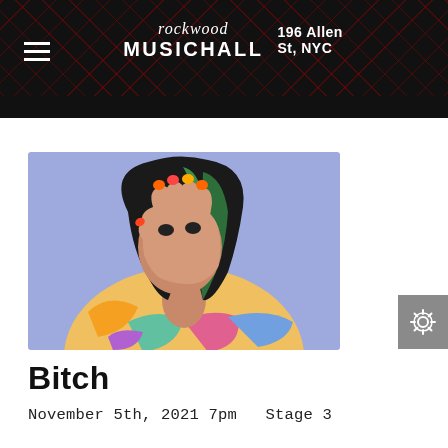rockwood MUSICHALL   196 Allen St, NYC
[Figure (photo): Artist promo photo: person with dark and green hair holding their right hand up in front of their face, wearing a colorful patterned jacket, against a light purple/lavender background]
Bitch
November 5th, 2021 7pm   Stage 3